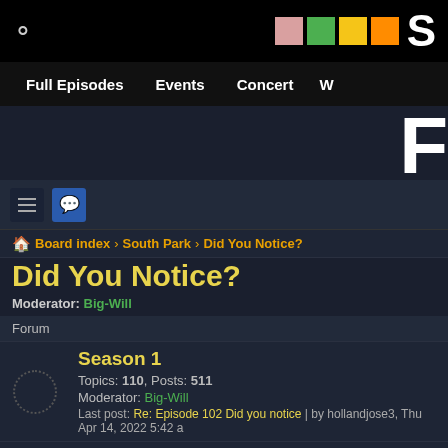South Park Fan Forum – Full Episodes | Events | Concert
Board index > South Park > Did You Notice?
Did You Notice?
Moderator: Big-Will
| Forum |
| --- |
| Season 1 | Topics: 110, Posts: 511 | Moderator: Big-Will | Last post: Re: Episode 102 Did you notice | by hollandjose3, Thu Apr 14, 2022 5:42 a |
| Season 2 | Topics: 106, Posts: 333 | Moderator: Big-Will | Last post: ... |